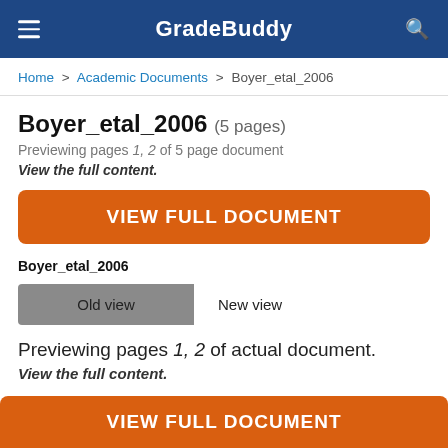GradeBuddy
Home > Academic Documents > Boyer_etal_2006
Boyer_etal_2006 (5 pages)
Previewing pages 1, 2 of 5 page document
View the full content.
VIEW FULL DOCUMENT
Boyer_etal_2006
Old view   New view
Previewing pages 1, 2 of actual document.
View the full content.
VIEW FULL DOCUMENT